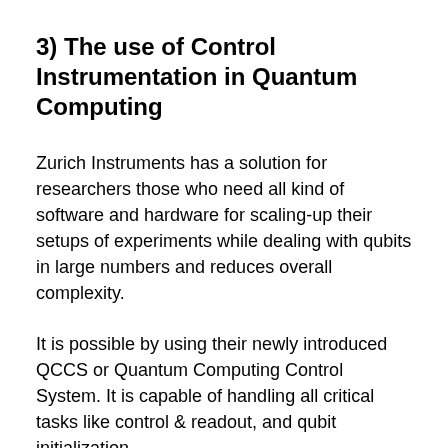3) The use of Control Instrumentation in Quantum Computing
Zurich Instruments has a solution for researchers those who need all kind of software and hardware for scaling-up their setups of experiments while dealing with qubits in large numbers and reduces overall complexity.
It is possible by using their newly introduced QCCS or Quantum Computing Control System. It is capable of handling all critical tasks like control & readout, and qubit initialization.